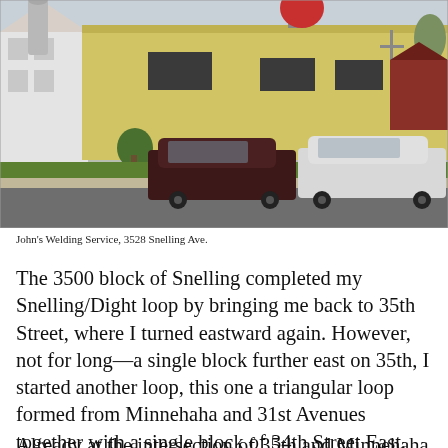[Figure (photo): Street-level photo of John's Welding Service at 3528 Snelling Ave. A yellow brick commercial building with dark awnings, a large red sign on the roof, and a white house visible to the left. Two SUVs are parked or driving on the street in front — a dark maroon SUV and a white SUV.]
John's Welding Service, 3528 Snelling Ave.
The 3500 block of Snelling completed my Snelling/Dight loop by bringing me back to 35th Street, where I turned eastward again. However, not for long—a single block further east on 35th, I started another loop, this one a triangular loop formed from Minnehaha and 31st Avenues together with a single block of 34th Street East.
Already at the intersection of 35th and Minnehaha